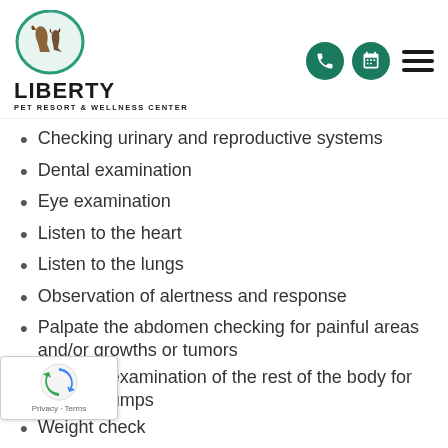[Figure (logo): Liberty Pet Resort & Wellness Center logo with circular icon showing a dog and cat silhouette, green teal circle background]
Checking urinary and reproductive systems
Dental examination
Eye examination
Listen to the heart
Listen to the lungs
Observation of alertness and response
Palpate the abdomen checking for painful areas and/or growths or tumors
Physical examination of the rest of the body for unusual lumps
Weight check
[Figure (logo): Google reCAPTCHA badge with rotating arrows logo and Privacy/Terms links]